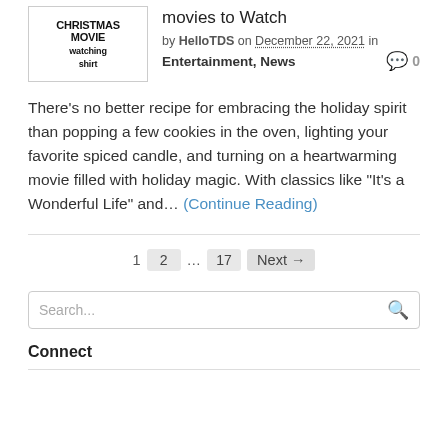[Figure (illustration): Christmas Movie Watching Shirt logo with decorative text]
movies to Watch
by HelloTDS on December 22, 2021 in Entertainment, News  0
There’s no better recipe for embracing the holiday spirit than popping a few cookies in the oven, lighting your favorite spiced candle, and turning on a heartwarming movie filled with holiday magic. With classics like “It’s a Wonderful Life” and... (Continue Reading)
1  2  ...  17  Next →
Search...
Connect